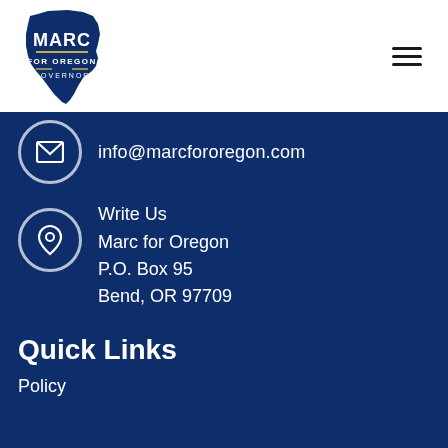[Figure (logo): Marc for Oregon Governor campaign logo with Oregon state outline shape in dark navy blue, containing the text MARC in large letters, FOR OREGON in smaller letters, and GOVERNOR below with decorative lines]
info@marcfororegon.com
Write Us
Marc for Oregon
P.O. Box 95
Bend, OR 97709
Quick Links
Policy